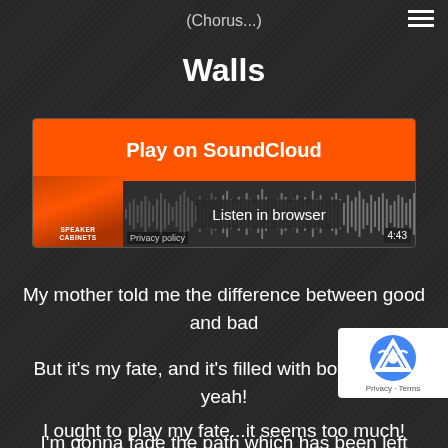(Chorus...)
Walls
[Figure (screenshot): SoundCloud embedded player with orange 'Play on SoundCloud' button, album art for 'Speaker Cabinets', waveform, 'Listen in browser' button, and 4:43 duration.]
My mother told me the difference between good and bad
But it's my fate, and it's filled with both things, yeah!
I'm gonna fade the path which has been left behind
Don't worry muma, call me and I'll tell you ho
I ought to play my fate...it seems too much!